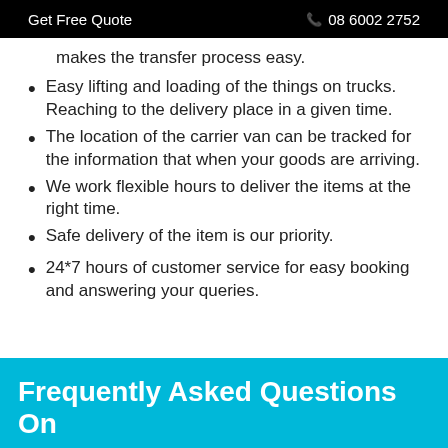Get Free Quote  📞08 6002 2752
makes the transfer process easy.
Easy lifting and loading of the things on trucks. Reaching to the delivery place in a given time.
The location of the carrier van can be tracked for the information that when your goods are arriving.
We work flexible hours to deliver the items at the right time.
Safe delivery of the item is our priority.
24*7 hours of customer service for easy booking and answering your queries.
Frequently Asked Questions On